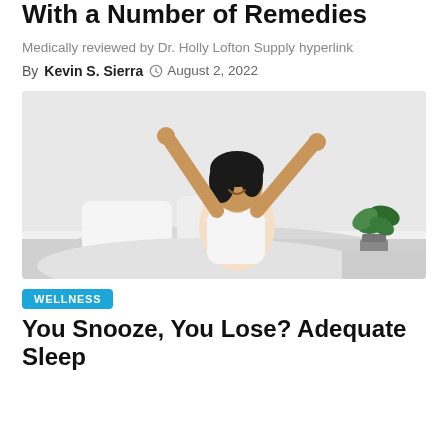With a Number of Remedies
Medically reviewed by Dr. Holly Lofton Supply hyperlink
By Kevin S. Sierra  ⊙  August 2, 2022
[Figure (photo): A smiling woman sitting up in bed with arms raised, wearing a white tank top, with white pillows and bedding, and a green plant on a bedside table in the background.]
WELLNESS
You Snooze, You Lose? Adequate Sleep Might Be Necessary When it Comes to Weight Loss